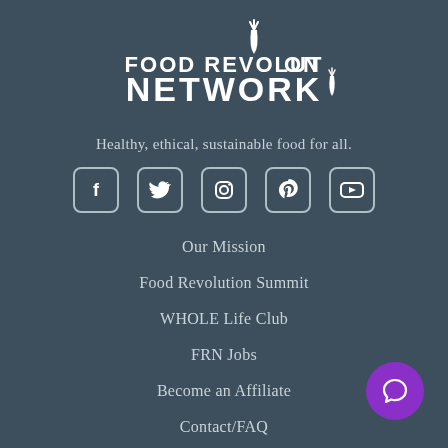[Figure (logo): Food Revolution Network logo with carrot icon, white text on dark background]
Healthy, ethical, sustainable food for all.
[Figure (infographic): Social media icons: Facebook, Twitter, Instagram, Pinterest, YouTube]
Our Mission
Food Revolution Summit
WHOLE Life Club
FRN Jobs
Become an Affiliate
Contact/FAQ